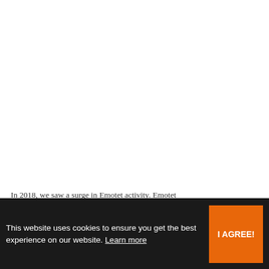In 2018, we saw a surge in Emotet activity. Emotet started as a banking trojan but this blog will shed light on how it has also become a "threat distributor". We
This website uses cookies to ensure you get the best experience on our website. Learn more